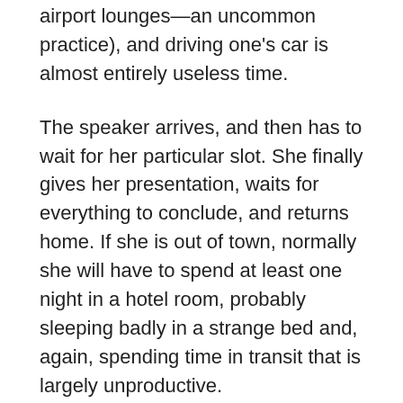airport lounges—an uncommon practice), and driving one's car is almost entirely useless time.
The speaker arrives, and then has to wait for her particular slot. She finally gives her presentation, waits for everything to conclude, and returns home. If she is out of town, normally she will have to spend at least one night in a hotel room, probably sleeping badly in a strange bed and, again, spending time in transit that is largely unproductive.
Count up all of those hours. Not just the forty minutes she actually spoke at the banquet, or the four hours she was actually in front of the microphone during a weekend conference, but the many, many hours spent in the service of the inviting group from start to finish. Divide those